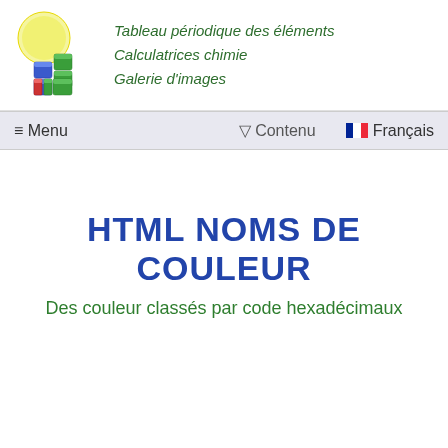[Figure (logo): Logo with yellow sun and colorful 3D blocks (blue, green, red) representing a chemistry/periodic table website]
Tableau périodique des éléments
Calculatrices chimie
Galerie d'images
≡ Menu   ▽ Contenu   🇫🇷 Français
HTML NOMS DE COULEUR
Des couleur classés par code hexadécimaux